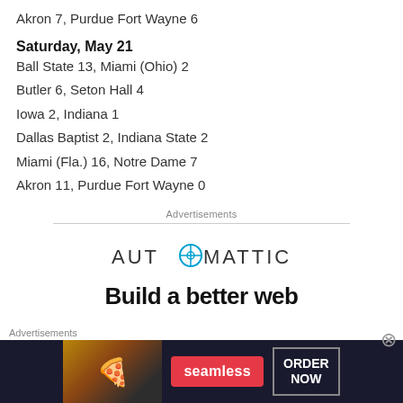Akron 7, Purdue Fort Wayne 6
Saturday, May 21
Ball State 13, Miami (Ohio) 2
Butler 6, Seton Hall 4
Iowa 2, Indiana 1
Dallas Baptist 2, Indiana State 2
Miami (Fla.) 16, Notre Dame 7
Akron 11, Purdue Fort Wayne 0
Advertisements
[Figure (logo): Automattic logo text with compass icon replacing the O]
Build a better web
Advertisements
[Figure (photo): Seamless food delivery advertisement showing pizza slices with Seamless badge and ORDER NOW button on dark background]